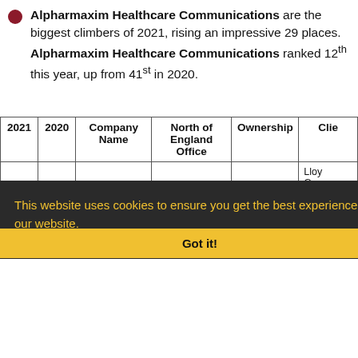Alpharmaxim Healthcare Communications are the biggest climbers of 2021, rising an impressive 29 places. Alpharmaxim Healthcare Communications ranked 12th this year, up from 41st in 2020.
| 2021 | 2020 | Company Name | North of England Office | Ownership | Clie... |
| --- | --- | --- | --- | --- | --- |
| 1 | 1 | Citypress | Manchester | Private | Lloy... Gro... Lan... Euro... Mols... Beve... |
|  |  |  |  |  | Wol... |
This website uses cookies to ensure you get the best experience on our website. Learn more
Got it!